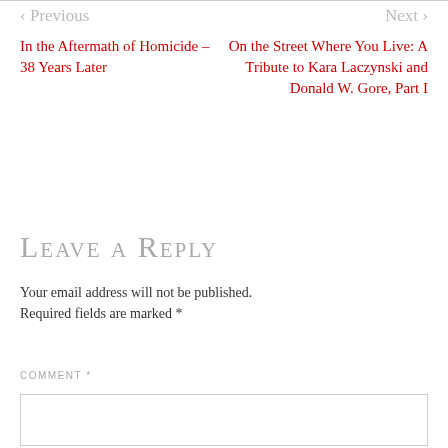< Previous
Next >
In the Aftermath of Homicide – 38 Years Later
On the Street Where You Live: A Tribute to Kara Laczynski and Donald W. Gore, Part I
Leave a Reply
Your email address will not be published. Required fields are marked *
COMMENT *